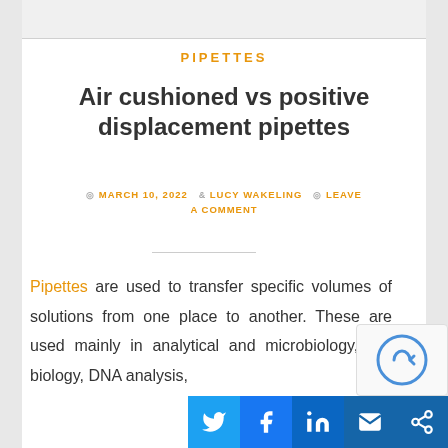PIPETTES
Air cushioned vs positive displacement pipettes
MARCH 10, 2022  LUCY WAKELING  LEAVE A COMMENT
Pipettes are used to transfer specific volumes of solutions from one place to another. These are used mainly in analytical and microbiology, cell biology, DNA analysis,